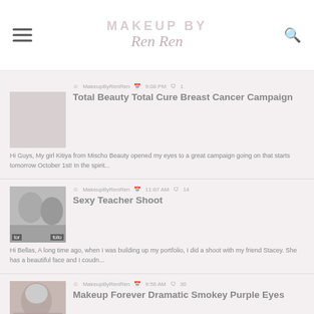MAKEUP BY Ren Ren
MakeupByRenRen  9:08 PM  1
Total Beauty Total Cure Breast Cancer Campaign
Hi Guys, My girl Kitiya from Mischo Beauty opened my eyes to a great campaign going on that starts tomorrow October 1st! In the spirit...
MakeupByRenRen  11:07 AM  14
Sexy Teacher Shoot
Hi Bellas, A long time ago, when I was building up my portfolio, I did a shoot with my friend Stacey. She has a beautiful face and I coudn...
MakeupByRenRen  9:58 AM  30
Makeup Forever Dramatic Smokey Purple Eyes
Hi Bellas, How was your weekend? I had a fun one...Friday we went...